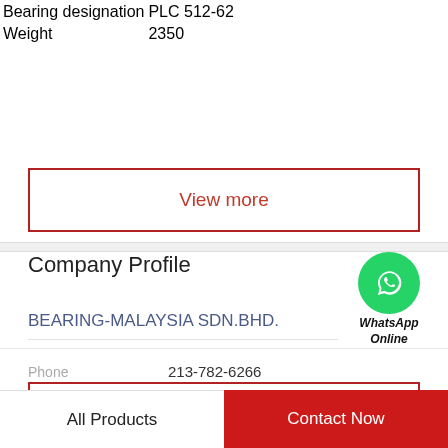| Bearing designation | PLC 512-62 |
| Weight | 2350 |
View more
Company Profile
[Figure (logo): WhatsApp Online green circle icon with phone handset, labeled WhatsApp Online]
BEARING-MALAYSIA SDN.BHD.
Phone   213-782-6266
View more
All Products
Contact Now